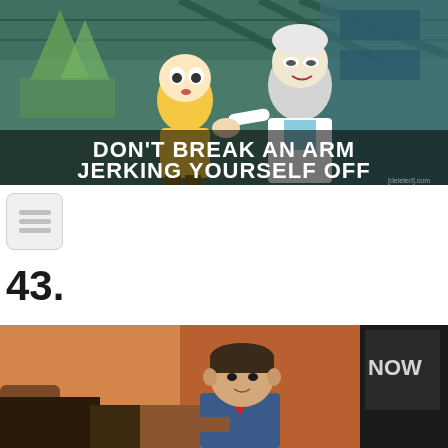[Figure (illustration): Rick and Morty animated screenshot with subtitle text: DON'T BREAK AN ARM JERKING YOURSELF OFF]
[Figure (photo): Small thumbnail icon showing list lines on light grey rounded square]
43.
[Figure (photo): Photo of a young boy in a Scout uniform sitting on a talk show set with orange background]